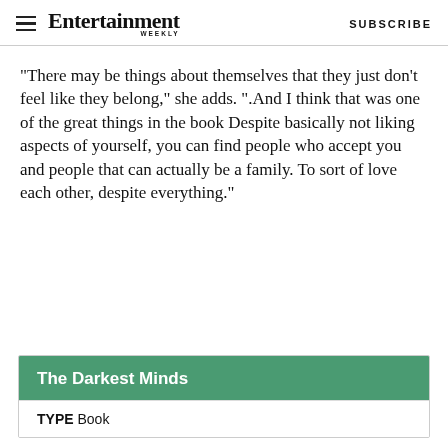Entertainment Weekly  SUBSCRIBE
“There may be things about themselves that they just don’t feel like they belong,” she adds. “.And I think that was one of the great things in the book Despite basically not liking aspects of yourself, you can find people who accept you and people that can actually be a family. To sort of love each other, despite everything.”
The Darkest Minds
TYPE  Book